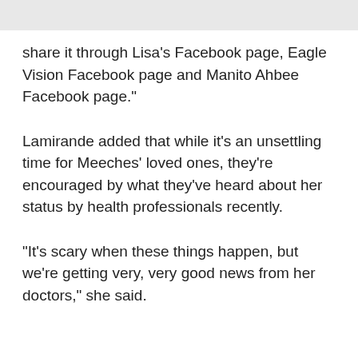share it through Lisa's Facebook page, Eagle Vision Facebook page and Manito Ahbee Facebook page."
Lamirande added that while it's an unsettling time for Meeches' loved ones, they're encouraged by what they've heard about her status by health professionals recently.
"It's scary when these things happen, but we're getting very, very good news from her doctors," she said.